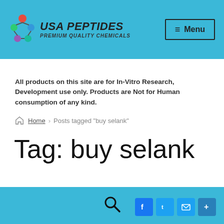USA PEPTIDES PREMIUM QUALITY CHEMICALS | Menu
All products on this site are for In-Vitro Research, Development use only. Products are Not for Human consumption of any kind.
Home > Posts tagged "buy selank"
Tag: buy selank
Posted on February 22, 2022 by darren
Search | Facebook | Twitter | Email | Share